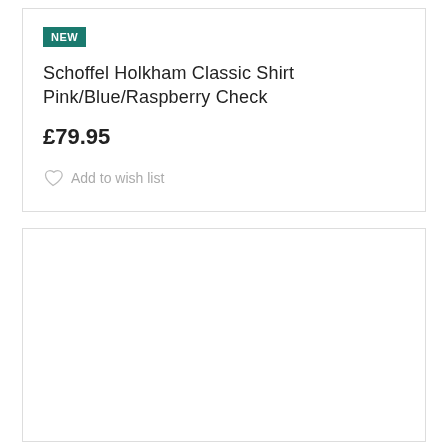NEW
Schoffel Holkham Classic Shirt Pink/Blue/Raspberry Check
£79.95
Add to wish list